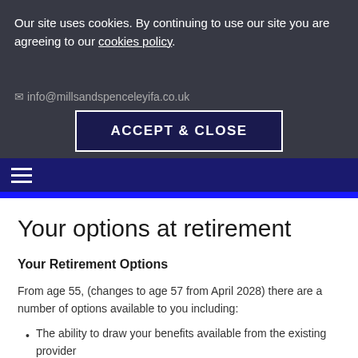Our site uses cookies. By continuing to use our site you are agreeing to our cookies policy.
info@millsandspenceleyifa.co.uk
ACCEPT & CLOSE
Your options at retirement
Your Retirement Options
From age 55, (changes to age 57 from April 2028) there are a number of options available to you including:
The ability to draw your benefits available from the existing provider
Purchase an annuity with a different provider